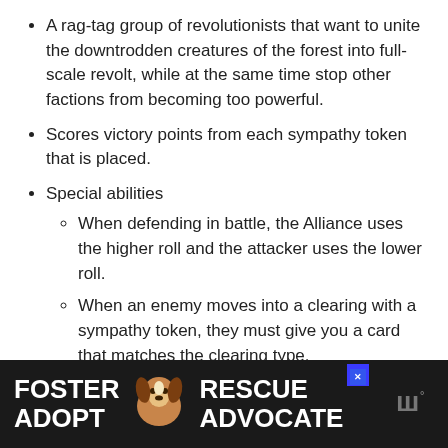A rag-tag group of revolutionists that want to unite the downtrodden creatures of the forest into full-scale revolt, while at the same time stop other factions from becoming too powerful.
Scores victory points from each sympathy token that is placed.
Special abilities
When defending in battle, the Alliance uses the higher roll and the attacker uses the lower roll.
When an enemy moves into a clearing with a sympathy token, they must give you a card that matches the clearing type.
[Figure (infographic): Advertisement banner with black background. Shows text FOSTER ADOPT on the left in white bold uppercase letters, a dog (beagle) photo in the center, RESCUE ADVOCATE text on the right in white bold uppercase letters, a blue close button with X, and a grey logo on the far right.]